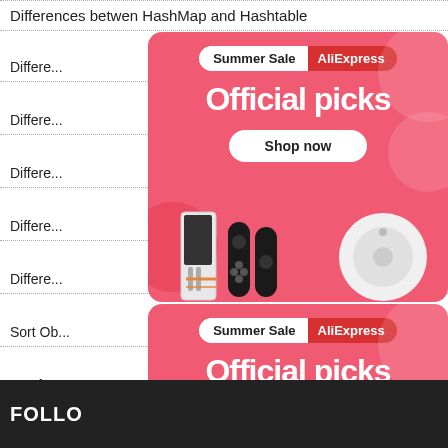Differences betwen HashMap and Hashtable
Differe...
Differe...
Differe...
Differe...  Java
Differe...
Sort Ob...
Interfa...
Sort Objects in a ArrayList using Java Comparator
[Figure (infographic): AliExpress Summer Sale ad banner with 'Official picks' title and Shop now button, featuring robot vacuum and gaming products on pink background]
[Figure (infographic): AliExpress Summer Sale ad banner (second instance) with 'Official picks' title and Shop now button, on pink background]
FOLLO...